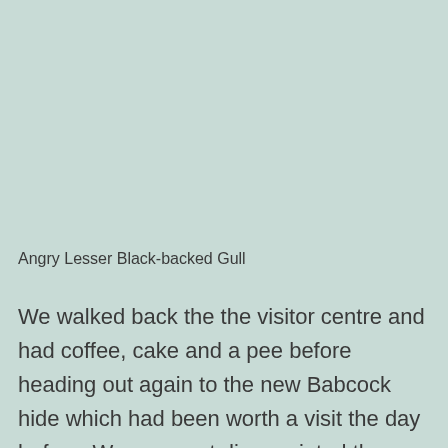Angry Lesser Black-backed Gull
We walked back the the visitor centre and had coffee, cake and a pee before heading out again to the new Babcock hide which had been worth a visit the day before. We were not disappointed the Common Sandpipers and the Ringed Plover showed well in the scrape just in